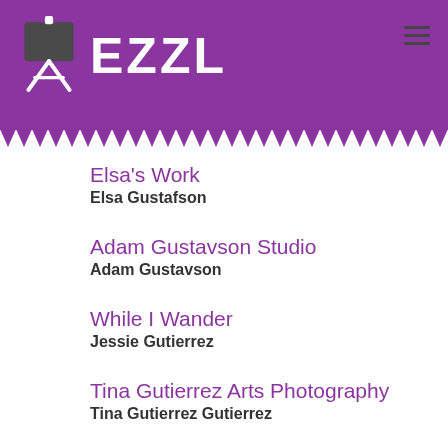EZZL
Elsa's Work
Elsa Gustafson
Adam Gustavson Studio
Adam Gustavson
While I Wander
Jessie Gutierrez
Tina Gutierrez Arts Photography
Tina Gutierrez Gutierrez